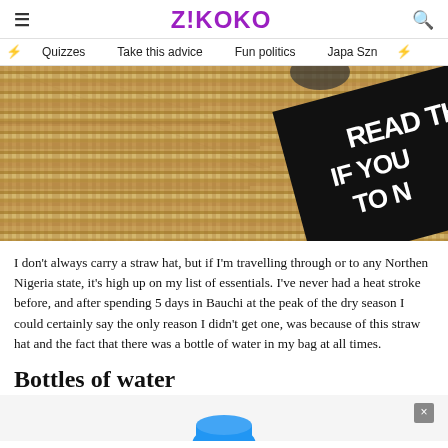Z!KOKO
Quizzes  Take this advice  Fun politics  Japa Szn
[Figure (photo): Close-up photo of a woven straw hat with a book/card partially visible showing text READ THIS IF YOU TO (partially visible)]
I don't always carry a straw hat, but if I'm travelling through or to any Northen Nigeria state, it's high up on my list of essentials. I've never had a heat stroke before, and after spending 5 days in Bauchi at the peak of the dry season I could certainly say the only reason I didn't get one, was because of this straw hat and the fact that there was a bottle of water in my bag at all times.
Bottles of water
[Figure (photo): Bottom of page showing partial image with a blue water bottle cap visible, and an ad close button (x) in top right corner]